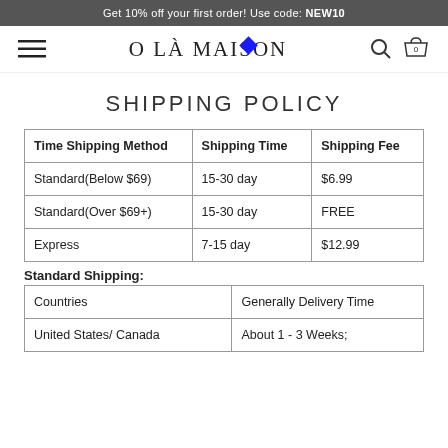Get 10% off your first order! Use code: NEW10
[Figure (logo): O LÀ MAISON logo with hamburger menu, search icon, and cart icon with 0 items]
SHIPPING POLICY
| Time Shipping Method | Shipping Time | Shipping Fee |
| --- | --- | --- |
| Standard(Below $69) | 15-30 day | $6.99 |
| Standard(Over $69+) | 15-30 day | FREE |
| Express | 7-15 day | $12.99 |
Standard Shipping:
| Countries | Generally Delivery Time |
| --- | --- |
| United States/ Canada | About 1 - 3 Weeks; |